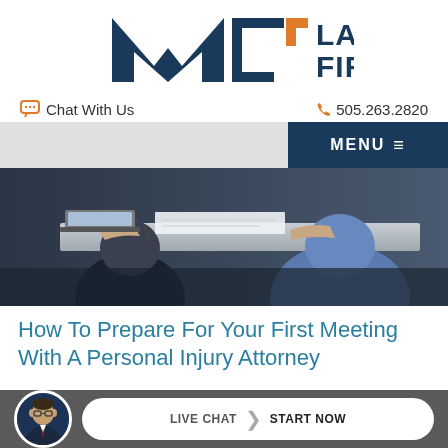[Figure (logo): MPJ Law Firm logo with dark navy geometric M shape and orange accent bracket, with 'LAW FIRM' text in navy]
Chat With Us
505.263.2820
MENU ≡
[Figure (photo): People sitting at a table signing documents, close-up of hands with pen writing on paper, laptop visible]
How To Prepare For Your First Meeting With A Personal Injury Attorney
[Figure (photo): Circular avatar photo of a man in a suit with glasses]
LIVE CHAT  › START NOW